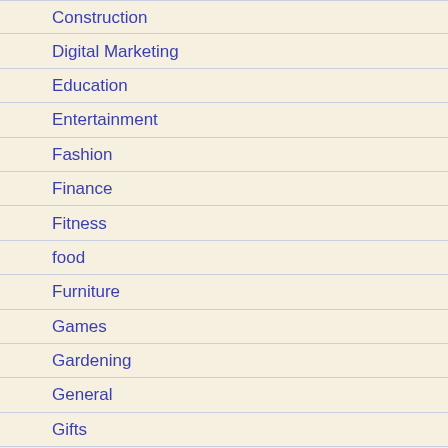Construction
Digital Marketing
Education
Entertainment
Fashion
Finance
Fitness
food
Furniture
Games
Gardening
General
Gifts